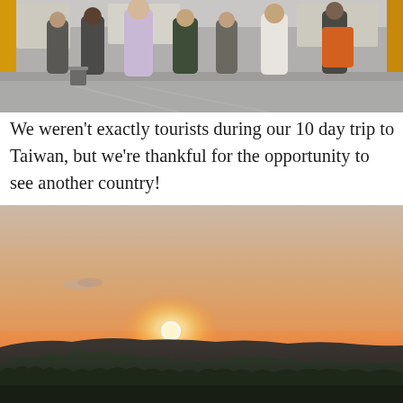[Figure (photo): Crowd of people standing in what appears to be an airport or transit terminal. A woman in a light lavender/purple dress is prominent in the foreground. People are carrying bags. The floor is shiny and reflective. Background shows yellow structural beams and large windows.]
We weren't exactly tourists during our 10 day trip to Taiwan, but we're thankful for the opportunity to see another country!
[Figure (photo): Landscape photo of a sunset over rolling hills and dense tree canopy. The sky is hazy orange-pink with the sun near the horizon appearing as a bright white-orange circle. Some small clouds in the upper left. The foreground shows dark silhouetted treelines and hillside vegetation.]